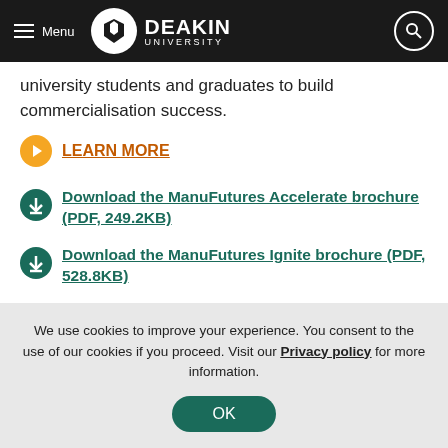Menu | Deakin University
university students and graduates to build commercialisation success.
LEARN MORE
Download the ManuFutures Accelerate brochure (PDF, 249.2KB)
Download the ManuFutures Ignite brochure (PDF, 528.8KB)
We use cookies to improve your experience. You consent to the use of our cookies if you proceed. Visit our Privacy policy for more information.